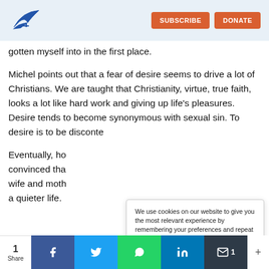SUBSCRIBE | DONATE
gotten myself into in the first place.
Michel points out that a fear of desire seems to drive a lot of Christians. We are taught that Christianity, virtue, true faith, looks a lot like hard work and giving up life's pleasures. Desire tends to become synonymous with sexual sin. To desire is to be disconte[nted...]
We use cookies on our website to give you the most relevant experience by remembering your preferences and repeat visits. By clicking “Accept”, you consent to the use of ALL the cookies.
Eventually, ho[wever, he was] convinced tha[t his role as] wife and moth[er called for] a quieter life.
1 Share | Facebook | Twitter | WhatsApp | LinkedIn | Email | 1 | +